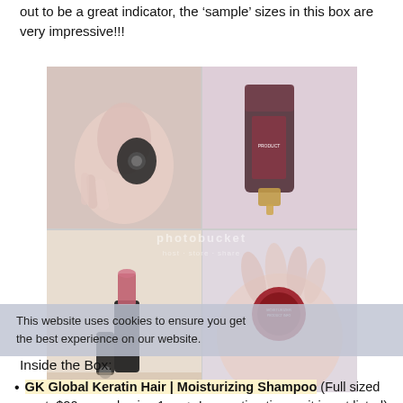out to be a great indicator, the ‘sample’ sizes in this box are very impressive!!!
[Figure (photo): Four-panel photo grid showing cosmetic products: top-left shows a hand holding a small round compact/mascara, top-right shows a dark tube with gold cap (cosmetic product), bottom-left shows a lipstick standing upright with cap beside it, bottom-right shows a hand holding a small round product. Photobucket watermark overlay visible.]
This website uses cookies to ensure you get the best experience on our website.
Inside the Box:
GK Global Keratin Hair | Moisturizing Shampoo (Full sized cost: $20, sample size 1 oz<--I am estimating as it is not listed): I have never heard of this brand before! I always travel with deluxe sample sized shampoos from my